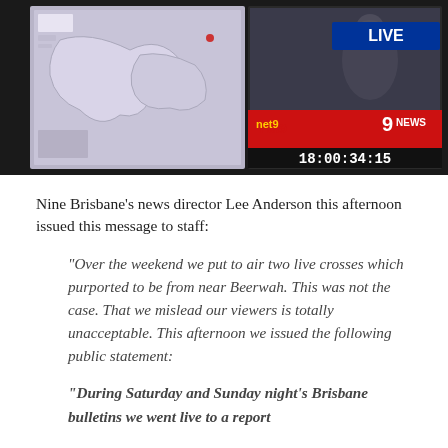[Figure (screenshot): Two-panel screenshot: left panel shows a map/outline image on a monitor screen; right panel shows a Channel Nine News 'LIVE' broadcast with timestamp 18:00:34:15 and '9 NEWS' logo and 'net9' watermark.]
Nine Brisbane's news director Lee Anderson this afternoon issued this message to staff:
“Over the weekend we put to air two live crosses which purported to be from near Beerwah. This was not the case. That we mislead our viewers is totally unacceptable. This afternoon we issued the following public statement:
“During Saturday and Sunday night’s Brisbane bulletins we went live to a report